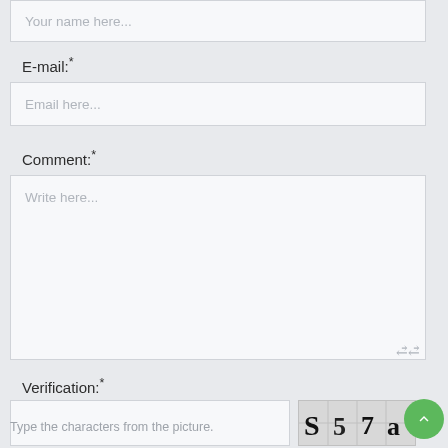Your name here...
E-mail:*
Email here...
Comment:*
Write here...
Verification:*
[Figure (other): CAPTCHA image showing characters S 5 7 a]
Type the characters from the picture.